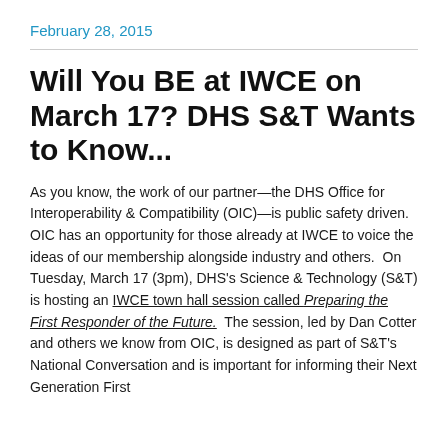February 28, 2015
Will You BE at IWCE on March 17? DHS S&T Wants to Know...
As you know, the work of our partner—the DHS Office for Interoperability & Compatibility (OIC)—is public safety driven. OIC has an opportunity for those already at IWCE to voice the ideas of our membership alongside industry and others.  On Tuesday, March 17 (3pm), DHS's Science & Technology (S&T) is hosting an IWCE town hall session called Preparing the First Responder of the Future.  The session, led by Dan Cotter and others we know from OIC, is designed as part of S&T's National Conversation and is important for informing their Next Generation First